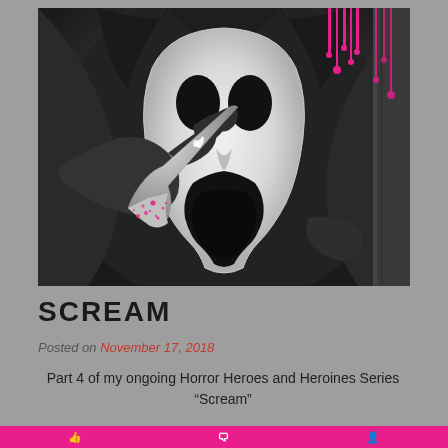[Figure (illustration): Digital illustration of Ghostface from the Scream horror franchise. The figure wears a black hooded robe and the iconic white Ghostface mask with elongated screaming mouth and black eye holes. The character holds a knife with blood spatters in pink/magenta color. Pink/magenta drips fall from the top of the image. The background is dark gray to black.]
SCREAM
Posted on November 17, 2018
Part 4 of my ongoing Horror Heroes and Heroines Series
“Scream”